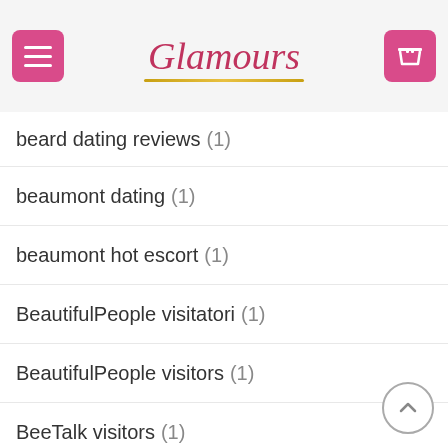Glamours
beard dating reviews (1)
beaumont dating (1)
beaumont hot escort (1)
BeautifulPeople visitatori (1)
BeautifulPeople visitors (1)
BeeTalk visitors (1)
benaughty de reviews (1)
Benaughty seite hookup (1)
berkeley escort (1)
best canadian online casinos (1)